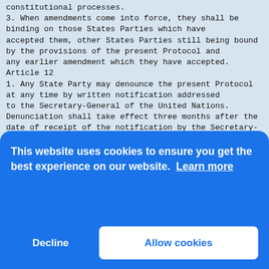constitutional processes.
3. When amendments come into force, they shall be binding on those States Parties which have accepted them, other States Parties still being bound by the provisions of the present Protocol and any earlier amendment which they have accepted.
Article 12
1. Any State Party may denounce the present Protocol at any time by written notification addressed to the Secretary-General of the United Nations. Denunciation shall take effect three months after the date of receipt of the notification by the Secretary-General.
2. Denunciation shall be without prejudice to the continued application of the provisions of the present Protocol to any communication submitted under article 2 before the effective date of denunciation.
Article 13
Irrespective of the notifications made under article 8, paragraph 5, of the present Protocol, the Secretary-General shall inform all ...
a) S... article...
b) T... Prot... into...
c) D... Arti...
1. The present Protocol, of which the Chinese, English, French, Russian and Spanish...
This website uses cookies to ensure you get the best experience on our website. Learn more
Decline   Allow cookies